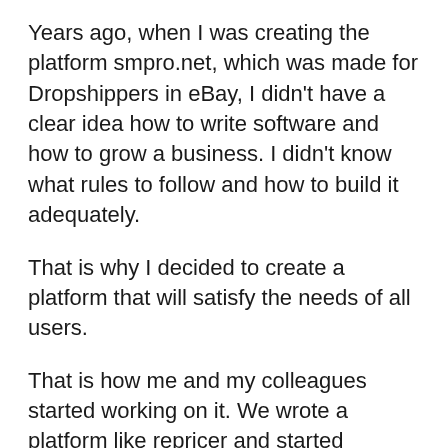Years ago, when I was creating the platform smpro.net, which was made for Dropshippers in eBay, I didn't have a clear idea how to write software and how to grow a business. I didn't know what rules to follow and how to build it adequately.
That is why I decided to create a platform that will satisfy the needs of all users.
That is how me and my colleagues started working on it. We wrote a platform like repricer and started integrating trackings, accounting modules, and many other things.
The platform itself became huge! It took us many years. In the end, it turned out that the users had gotten used to a specific price for a specific service. That way, offering